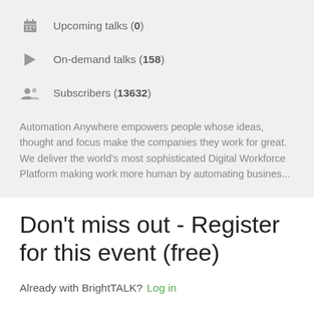Upcoming talks (0)
On-demand talks (158)
Subscribers (13632)
Automation Anywhere empowers people whose ideas, thought and focus make the companies they work for great. We deliver the world's most sophisticated Digital Workforce Platform making work more human by automating busines...
Don't miss out - Register for this event (free)
Already with BrightTALK? Log in